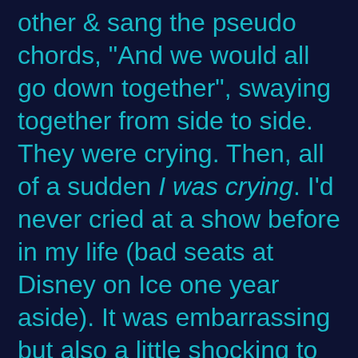other & sang the pseudo chords, "And we would all go down together", swaying together from side to side. They were crying. Then, all of a sudden I was crying. I'd never cried at a show before in my life (bad seats at Disney on Ice one year aside). It was embarrassing but also a little shocking to me. F-ing Billy Joel had infiltrated, he'd gotten to me. Boom.

That was it. I went out & bought the album the next day. Then, over time, welcomed the rest of his catalog into my life. Anyway,